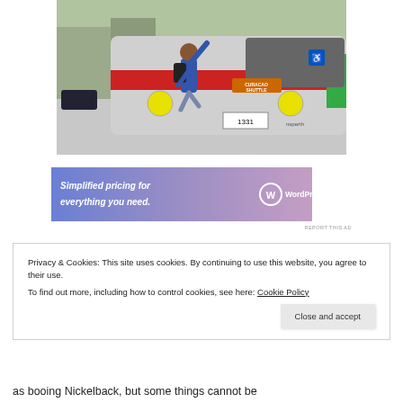[Figure (photo): A person in a blue shirt with a backpack climbing or jumping onto the front of a silver bus with red and green stripes, license plate 1331, Transperth bus]
[Figure (infographic): WordPress.com advertisement banner: 'Simplified pricing for everything you need.' with WordPress.com logo]
REPORT THIS AD
Privacy & Cookies: This site uses cookies. By continuing to use this website, you agree to their use.
To find out more, including how to control cookies, see here: Cookie Policy
Close and accept
as booing Nickelback, but some things cannot be